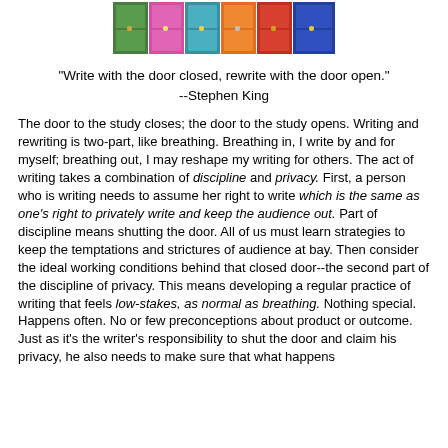[Figure (photo): A strip of colorful door photographs showing multiple doors in various colors including green, pink, teal, orange, red, and others.]
"Write with the door closed, rewrite with the door open."
--Stephen King
The door to the study closes; the door to the study opens. Writing and rewriting is two-part, like breathing. Breathing in, I write by and for myself; breathing out, I may reshape my writing for others. The act of writing takes a combination of discipline and privacy. First, a person who is writing needs to assume her right to write which is the same as one's right to privately write and keep the audience out. Part of discipline means shutting the door. All of us must learn strategies to keep the temptations and strictures of audience at bay. Then consider the ideal working conditions behind that closed door--the second part of the discipline of privacy. This means developing a regular practice of writing that feels low-stakes, as normal as breathing. Nothing special. Happens often. No or few preconceptions about product or outcome. Just as it's the writer's responsibility to shut the door and claim his privacy, he also needs to make sure that what happens inside the room as he thinks and writes it in some way "disciplines"